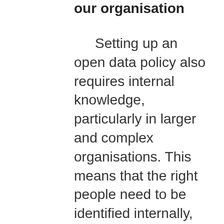our organisation
Setting up an open data policy also requires internal knowledge, particularly in larger and complex organisations. This means that the right people need to be identified internally, giving them access to training, while also giving them responsibility and clearing them of other tasks. In other cases, there may be a need to attract external knowledge on the topic that can then be internalized. In